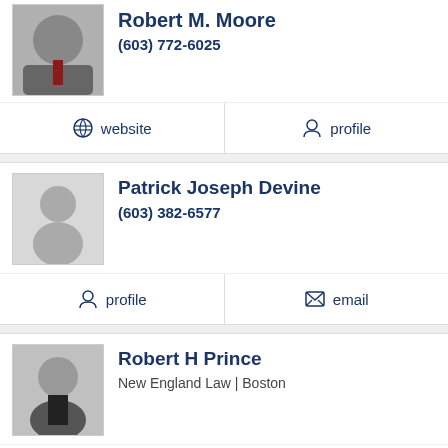Robert M. Moore
(603) 772-6025
website  profile
Patrick Joseph Devine
(603) 382-6577
profile  email
Robert H Prince
New England Law | Boston
profile